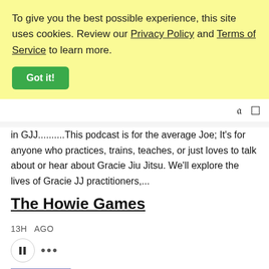To give you the best possible experience, this site uses cookies. Review our Privacy Policy and Terms of Service to learn more.
Got it!
in GJJ..........This podcast is for the average Joe; It's for anyone who practices, trains, teaches, or just loves to talk about or hear about Gracie Jiu Jitsu. We'll explore the lives of Gracie JJ practitioners,...
The Howie Games
13H  AGO
Where the biggest names in the world of sport go